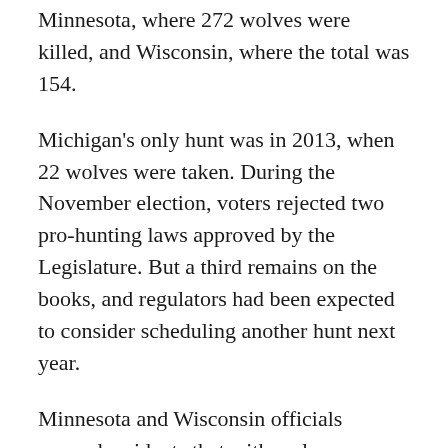Minnesota, where 272 wolves were killed, and Wisconsin, where the total was 154.
Michigan's only hunt was in 2013, when 22 wolves were taken. During the November election, voters rejected two pro-hunting laws approved by the Legislature. But a third remains on the books, and regulators had been expected to consider scheduling another hunt next year.
Minnesota and Wisconsin officials warned residents that with wolves classified as endangered once again, it's no longer legal to shoot those preying on livestock or pets. Wolves can be killed only if threatening human life, said Chris Niskanen of the Minnesota Department of Natural Resources.
(© Copyright 2014 The Associated Press. All Rights